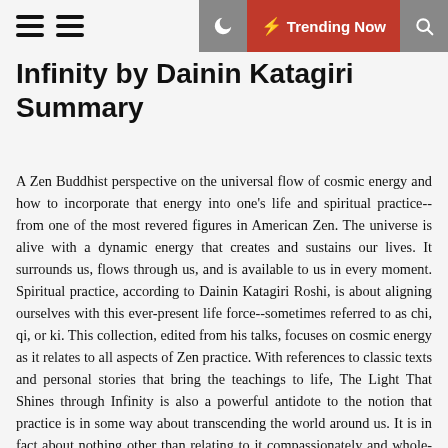≡ ≡  [moon]  ⚡ Trending Now  [search]
Infinity by Dainin Katagiri Summary
A Zen Buddhist perspective on the universal flow of cosmic energy and how to incorporate that energy into one's life and spiritual practice--from one of the most revered figures in American Zen. The universe is alive with a dynamic energy that creates and sustains our lives. It surrounds us, flows through us, and is available to us in every moment. Spiritual practice, according to Dainin Katagiri Roshi, is about aligning ourselves with this ever-present life force--sometimes referred to as chi, qi, or ki. This collection, edited from his talks, focuses on cosmic energy as it relates to all aspects of Zen practice. With references to classic texts and personal stories that bring the teachings to life, The Light That Shines through Infinity is also a powerful antidote to the notion that practice is in some way about transcending the world around us. It is in fact about nothing other than relating to it compassionately and whole-heartedly.